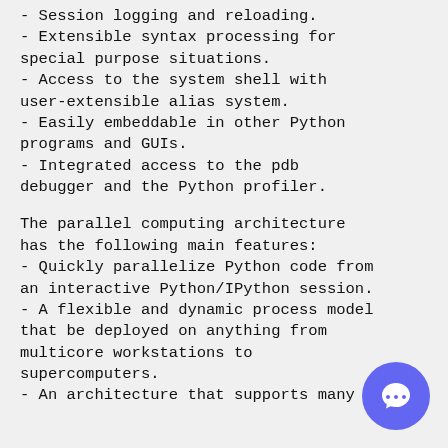- Session logging and reloading.
- Extensible syntax processing for special purpose situations.
- Access to the system shell with user-extensible alias system.
- Easily embeddable in other Python programs and GUIs.
- Integrated access to the pdb debugger and the Python profiler.
The parallel computing architecture has the following main features:
- Quickly parallelize Python code from an interactive Python/IPython session.
- A flexible and dynamic process model that be deployed on anything from multicore workstations to supercomputers.
- An architecture that supports many